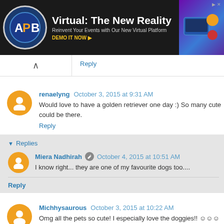[Figure (other): Advertisement banner for APB Virtual event platform: 'Virtual: The New Reality — Reinvent Your Events with Our New Virtual Platform — DEMO IT NOW']
Reply
renaelyng  October 3, 2015 at 9:31 AM
Would love to have a golden retriever one day :) So many cute could be there.
Reply
▼ Replies
Miera Nadhirah  October 4, 2015 at 10:51 AM
I know right... they are one of my favourite dogs too....
Reply
Michhysaurous  October 3, 2015 at 10:22 AM
Omg all the pets so cute! I especially love the doggies!! ☺☺☺